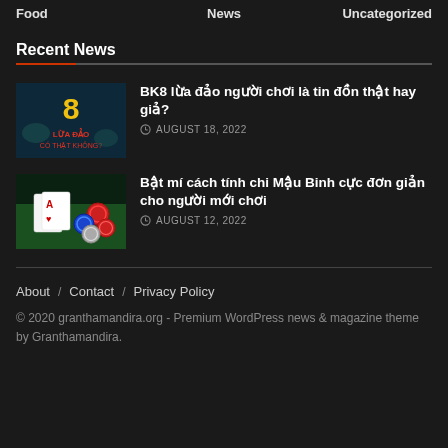Food   News   Uncategorized
Recent News
BK8 lừa đảo người chơi là tin đồn thật hay giả? AUGUST 18, 2022
Bật mí cách tính chi Mậu Binh cực đơn giản cho người mới chơi AUGUST 12, 2022
About / Contact / Privacy Policy
© 2020 granthamandira.org - Premium WordPress news & magazine theme by Granthamandira.